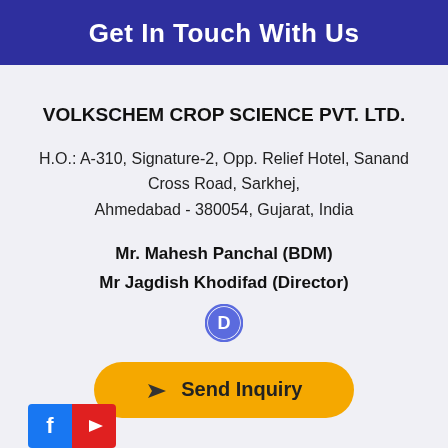Get In Touch With Us
VOLKSCHEM CROP SCIENCE PVT. LTD.
H.O.: A-310, Signature-2, Opp. Relief Hotel, Sanand Cross Road, Sarkhej, Ahmedabad - 380054, Gujarat, India
Mr. Mahesh Panchal (BDM)
Mr Jagdish Khodifad (Director)
[Figure (logo): Disqus speech bubble icon with letter D]
Send Inquiry
[Figure (logo): Facebook and YouTube social media icons]